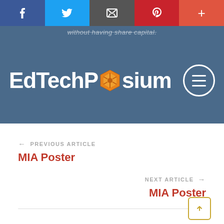[Figure (other): Social sharing bar with Facebook, Twitter, Email, Pinterest, and plus buttons]
without having share capital.
EdTechPosium
← PREVIOUS ARTICLE
MIA Poster
NEXT ARTICLE →
MIA Poster
Related Posts (partial)